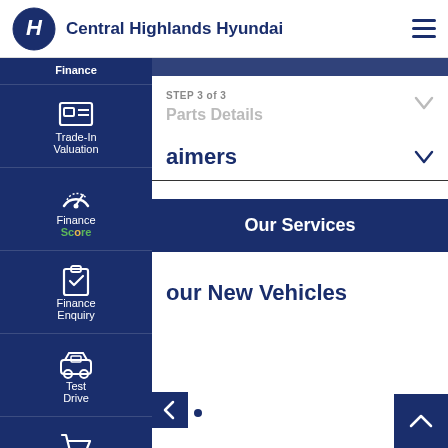Central Highlands Hyundai
STEP 3 of 3
Parts Details
aimers
Our Services
our New Vehicles
[Figure (screenshot): Left sidebar navigation with Trade-In Valuation, Finance Score, Finance Enquiry, Test Drive, and Click To Buy menu items in dark navy blue]
[Figure (logo): Hyundai oval logo in dark navy blue]